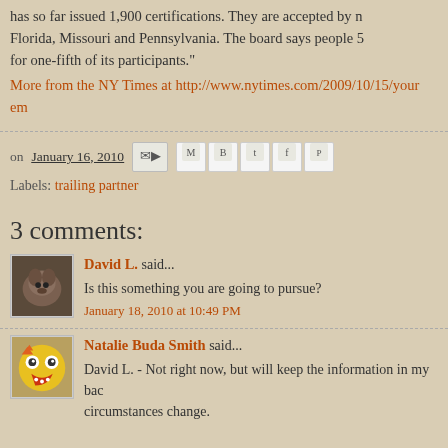has so far issued 1,900 certifications. They are accepted by n... Florida, Missouri and Pennsylvania. The board says people 5... for one-fifth of its participants."
More from the NY Times at http://www.nytimes.com/2009/10/15/you... em
on January 16, 2010   Labels: trailing partner
3 comments:
David L. said...
Is this something you are going to pursue?
January 18, 2010 at 10:49 PM
Natalie Buda Smith said...
David L. - Not right now, but will keep the information in my bac... circumstances change.